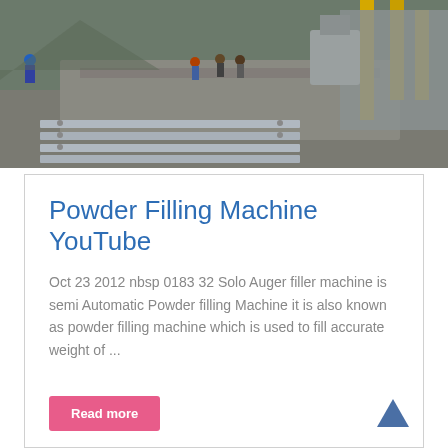[Figure (photo): Industrial construction site with workers, metal beams, yellow poles, and construction equipment on a paved surface]
Powder Filling Machine YouTube
Oct 23 2012 nbsp 0183 32 Solo Auger filler machine is semi Automatic Powder filling Machine it is also known as powder filling machine which is used to fill accurate weight of ...